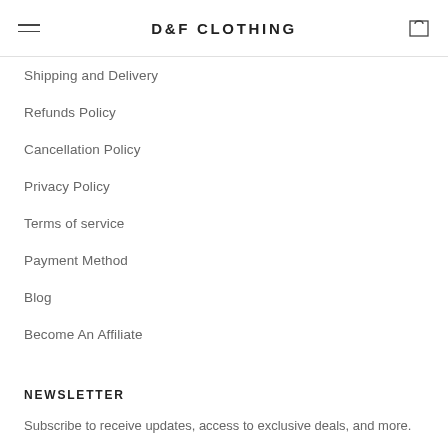D&F CLOTHING
Shipping and Delivery
Refunds Policy
Cancellation Policy
Privacy Policy
Terms of service
Payment Method
Blog
Become An Affiliate
NEWSLETTER
Subscribe to receive updates, access to exclusive deals, and more.